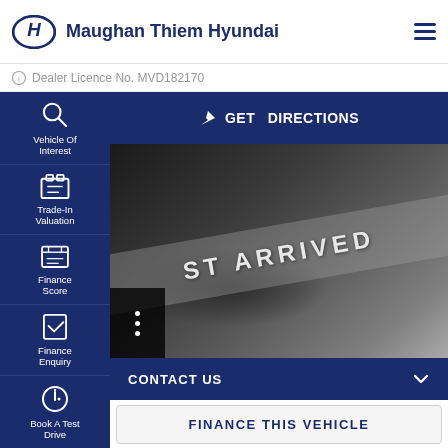Maughan Thiem Hyundai
Dealer Licence No. MVD182170
Vehicle Of Interest
Trade-In Valuation
Finance Score
Finance Enquiry
Book A Test Drive
GET DIRECTIONS
[Figure (photo): Grayscale photo of a car with a diagonal 'JUST ARRIVED' banner overlay]
CONTACT US
FINANCE THIS VEHICLE